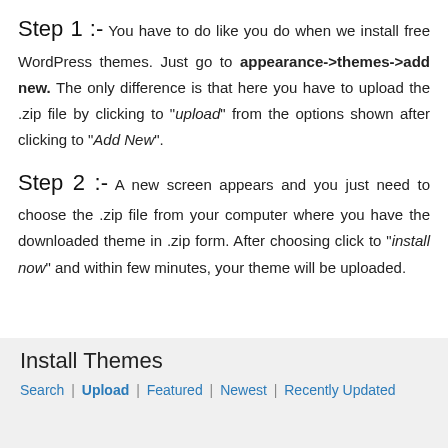Step 1 :- You have to do like you do when we install free WordPress themes. Just go to appearance->themes->add new. The only difference is that here you have to upload the .zip file by clicking to "upload" from the options shown after clicking to "Add New".
Step 2 :- A new screen appears and you just need to choose the .zip file from your computer where you have the downloaded theme in .zip form. After choosing click to "install now" and within few minutes, your theme will be uploaded.
[Figure (screenshot): WordPress Install Themes screen with navigation links: Search | Upload | Featured | Newest | Recently Updated]